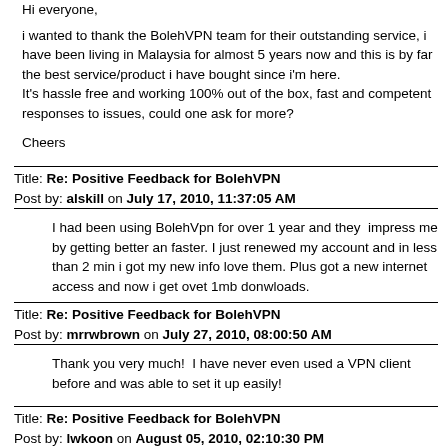Hi everyone,

i wanted to thank the BolehVPN team for their outstanding service, i have been living in Malaysia for almost 5 years now and this is by far the best service/product i have bought since i'm here.
It's hassle free and working 100% out of the box, fast and competent responses to issues, could one ask for more?

Cheers
Title: Re: Positive Feedback for BolehVPN
Post by: alskill on July 17, 2010, 11:37:05 AM
I had been using BolehVpn for over 1 year and they  impress me by getting better an faster. I just renewed my account and in less than 2 min i got my new info love them. Plus got a new internet access and now i get ovet 1mb donwloads.
Title: Re: Positive Feedback for BolehVPN
Post by: mrrwbrown on July 27, 2010, 08:00:50 AM
Thank you very much!  I have never even used a VPN client before and was able to set it up easily!
Title: Re: Positive Feedback for BolehVPN
Post by: lwkoon on August 05, 2010, 02:10:30 PM